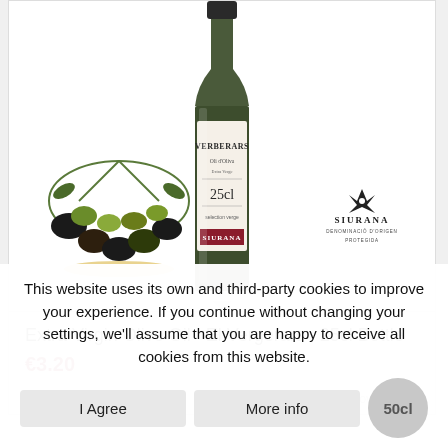[Figure (photo): Product card showing Extra Virgin Olive Oil El Vergerars 25cl bottle with olive branch and olives, and Siurana Denominació d'Origen Protegida logo]
Extra Virgin Olive Oil · El Vergerars · 25cl Bottle
€3.20
Add to cart
Show Details
This website uses its own and third-party cookies to improve your experience. If you continue without changing your settings, we'll assume that you are happy to receive all cookies from this website.
I Agree
More info
50cl